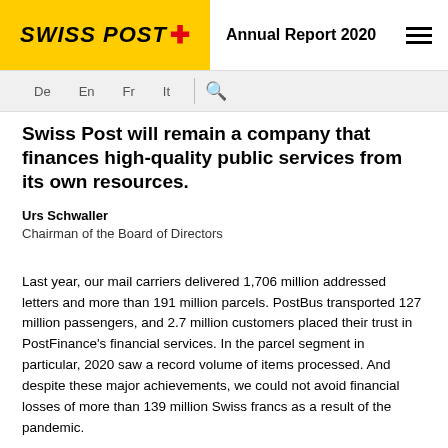SWISS POST | Annual Report 2020
Swiss Post will remain a company that finances high-quality public services from its own resources.
Urs Schwaller
Chairman of the Board of Directors
Last year, our mail carriers delivered 1,706 million addressed letters and more than 191 million parcels. PostBus transported 127 million passengers, and 2.7 million customers placed their trust in PostFinance’s financial services. In the parcel segment in particular, 2020 saw a record volume of items processed. And despite these major achievements, we could not avoid financial losses of more than 139 million Swiss francs as a result of the pandemic.
The past year also marks the end of the four-year 2017–2020